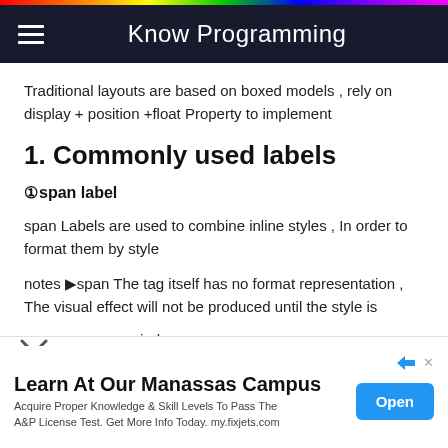Know Programming
Traditional layouts are based on boxed models , rely on display + position +float Property to implement
1. Commonly used labels
①span label
span Labels are used to combine inline styles , In order to format them by style
notes ▶span The tag itself has no format representation , The visual effect will not be produced until the style is applied
Learn At Our Manassas Campus
Acquire Proper Knowledge & Skill Levels To Pass The A&P License Test. Get More Info Today. my.fixjets.com